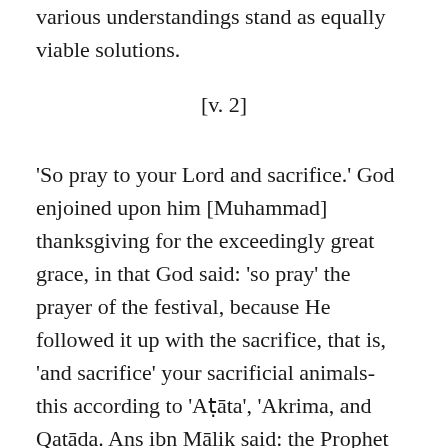various understandings stand as equally viable solutions.
[v. 2]
'So pray to your Lord and sacrifice.' God enjoined upon him [Muhammad] thanksgiving for the exceedingly great grace, in that God said: 'so pray' the prayer of the festival, because He followed it up with the sacrifice, that is, 'and sacrifice' your sacrificial animals- this according to 'Aṭāta', 'Akrima, and Qatāda. Ans ibn Mālik said: the Prophet of God, peace and prayers of God be upon him, used to sacrifice before he prayed, so [God] commanded him to pray [first], then sacrifice. And it is said: the meaning of 'So pray to you Lord' is the obligatory prayer of early